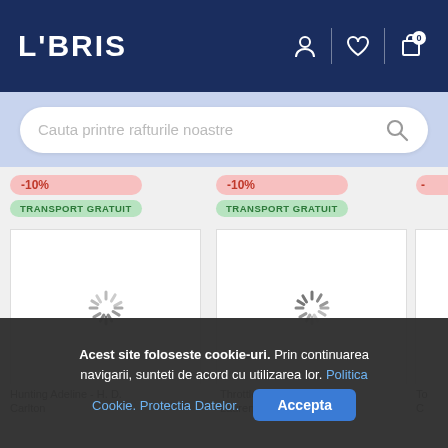LIBRIS
Cauta printre rafturile noastre
[Figure (screenshot): Product cards with -10% discount badge and TRANSPORT GRATUIT badge, loading spinner shown in book image area]
Hunting Adeline - H. D. Carlton
Throttled Special Edition - Lauren Asher
Acest site foloseste cookie-uri. Prin continuarea navigarii, sunteti de acord cu utilizarea lor. Politica Cookie. Protectia Datelor.
Accepta